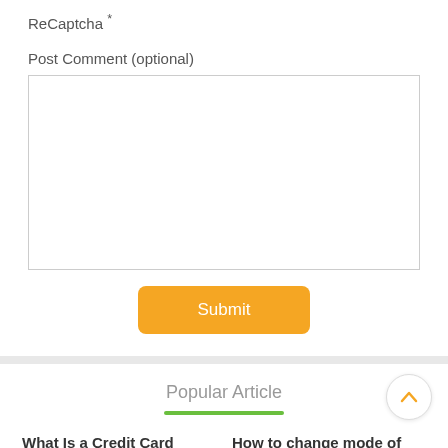ReCaptcha *
Post Comment (optional)
[Figure (screenshot): Text area input box for post comment]
Submit
Popular Article
What Is a Credit Card Number
How to change mode of repayment for a loan